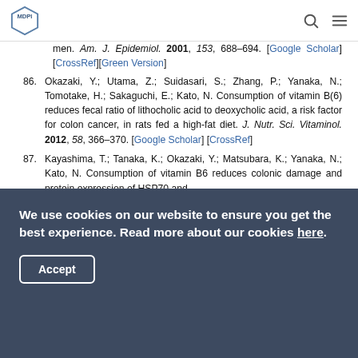MDPI
men. Am. J. Epidemiol. 2001, 153, 688–694. [Google Scholar] [CrossRef][Green Version]
86. Okazaki, Y.; Utama, Z.; Suidasari, S.; Zhang, P.; Yanaka, N.; Tomotake, H.; Sakaguchi, E.; Kato, N. Consumption of vitamin B(6) reduces fecal ratio of lithocholic acid to deoxycholic acid, a risk factor for colon cancer, in rats fed a high-fat diet. J. Nutr. Sci. Vitaminol. 2012, 58, 366–370. [Google Scholar] [CrossRef]
87. Kayashima, T.; Tanaka, K.; Okazaki, Y.; Matsubara, K.; Yanaka, N.; Kato, N. Consumption of vitamin B6 reduces colonic damage and protein expression of HSP70 and
We use cookies on our website to ensure you get the best experience. Read more about our cookies here. Accept